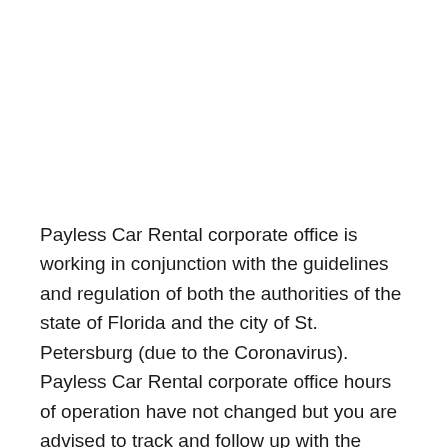Payless Car Rental corporate office is working in conjunction with the guidelines and regulation of both the authorities of the state of Florida and the city of St. Petersburg (due to the Coronavirus). Payless Car Rental corporate office hours of operation have not changed but you are advised to track and follow up with the updates & new information